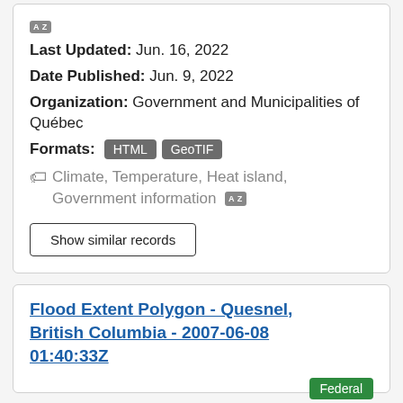[Figure (other): AZ icon/badge in grey]
Last Updated: Jun. 16, 2022
Date Published: Jun. 9, 2022
Organization: Government and Municipalities of Québec
Formats: HTML GeoTIF
Climate, Temperature, Heat island, Government information
Show similar records
Flood Extent Polygon - Quesnel, British Columbia - 2007-06-08 01:40:33Z
Federal